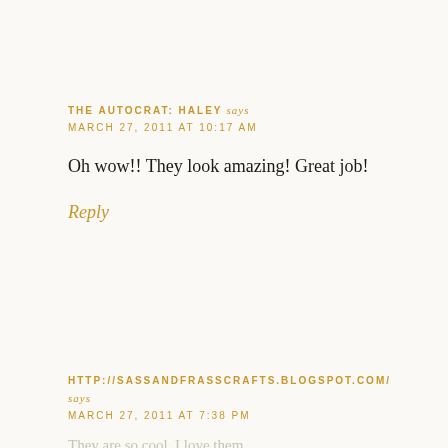THE AUTOCRAT: HALEY says
MARCH 27, 2011 AT 10:17 AM
Oh wow!! They look amazing! Great job!
Reply
HTTP://SASSANDFRASSCRAFTS.BLOGSPOT.COM/ says
MARCH 27, 2011 AT 7:38 PM
They are so cool. I love them